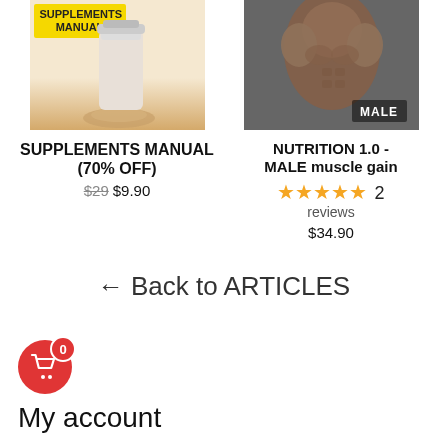[Figure (illustration): Product image of Supplements Manual with yellow label and protein powder spill]
[Figure (photo): Photo of muscular male torso with 'MALE' text label overlay on dark background]
SUPPLEMENTS MANUAL (70% OFF)
$29 $9.90
NUTRITION 1.0 - MALE muscle gain
★★★★★ 2 reviews
$34.90
← Back to ARTICLES
[Figure (illustration): Red circular cart button with shopping cart icon and '0' badge notification]
My account